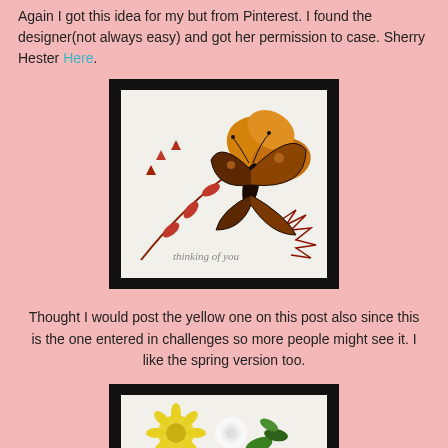Again I got this idea for my but from Pinterest. I found the designer(not always easy) and got her permission to case. Sherry Hester Here.
[Figure (photo): A handmade greeting card on a black background showing autumn leaves and branch die cuts in red/orange, a large butterfly die cut in dark brown/black and orange, with the sentiment 'thinking of you' stamped in grey on white cardstock.]
Thought I would post the yellow one on this post also since this is the one entered in challenges so more people might see it. I like the spring version too.
[Figure (photo): Partial view of a handmade greeting card on a black background showing yellow and white flower die cuts on white cardstock.]